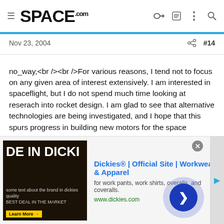SPACE.com
Nov 23, 2004
no_way,<br /><br />For various reasons, I tend not to focus on any given area of interest extensively. I am interested in spaceflight, but I do not spend much time looking at reserach into rocket design. I am glad to see that alternative technologies are being investigated, and I hope that this spurs progress in building new motors for the space program. The approach that your link demonstrates is a new way of thinking about one of the oldest problems in motor design. Whether it is viable on very large engines remains to be seen, and I hope that the company can get the support to continue their research. <div class="Discussion_UserSignature"> The secret to peace of mind is a short attention span. </div>
[Figure (screenshot): Advertisement banner for Dickies workwear showing 'MADE IN DICKIES' text with Dickies logo, tagline 'for work pants, work shirts, overalls, and coveralls.' and url www.dickies.com]